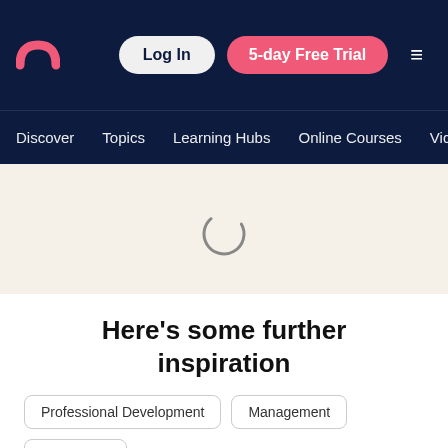[Figure (logo): Pink arch/rainbow logo icon]
Log In   5-day Free Trial   ☰
Discover   Topics   Learning Hubs   Online Courses   Vid…
[Figure (other): Loading spinner circle in beige content area]
Here's some further inspiration
Professional Development
Management
Leadership